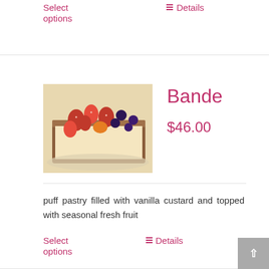Select options
Details
[Figure (photo): A rectangular fruit tart with strawberries, blueberries, and other fresh fruit on vanilla custard in a pastry shell]
Bande
$46.00
puff pastry filled with vanilla custard and topped with seasonal fresh fruit
Select options
Details